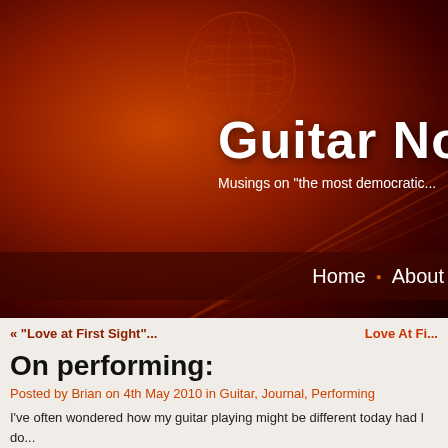[Figure (screenshot): Blog website header with dark red/orange background, microphone sphere graphic, guitar strings visual, site title 'Guitar No' (truncated), tagline 'Musings on "the most democratic...' (truncated)]
Guitar No
Musings on "the most democratic...
Home • About
« “Love at First Sight”...
Love At Fi...
On performing:
Posted by Brian on 4th May 2010 in Guitar, Journal, Performing
I've often wondered how my guitar playing might be different today had I do...